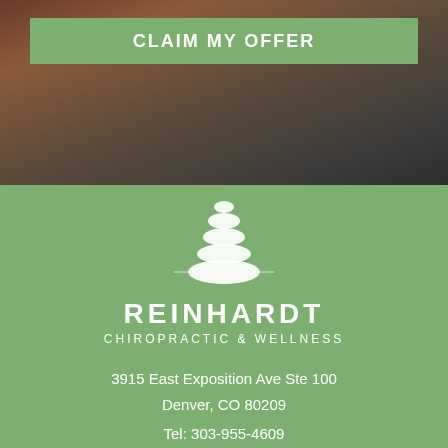[Figure (photo): Dark background photo of chiropractic/wellness setting, partially visible behind green claim bar]
CLAIM MY OFFER
[Figure (logo): Reinhardt Chiropractic & Wellness logo with stacked stones icon above text]
3915 East Exposition Ave Ste 100
Denver, CO 80209
Tel: 303-955-4609
Fax: 720-484-6377
Email: ReinhardtChiro@gmail.com